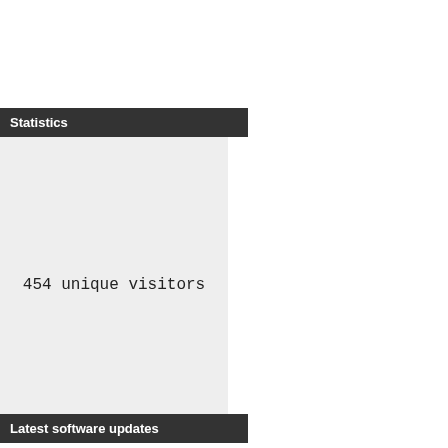Statistics
454 unique visitors
Latest software updates